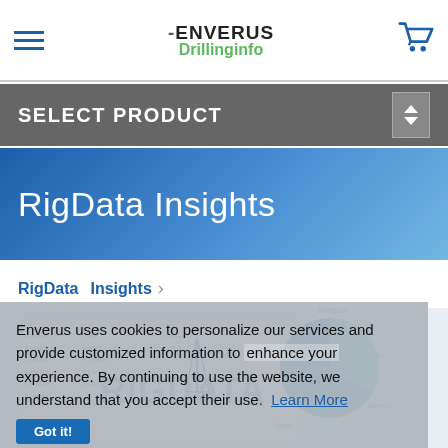ENVERUS Drillinginfo
SELECT PRODUCT
RigData Insights
RigData Insights
Enverus uses cookies to personalize our services and provide customized information to enhance your experience. By continuing to use the website, we understand that you accept their use.  Learn More
Got it!
[Figure (screenshot): RigData product preview showing spreadsheet data and pie chart with RIGDATA logo watermark]